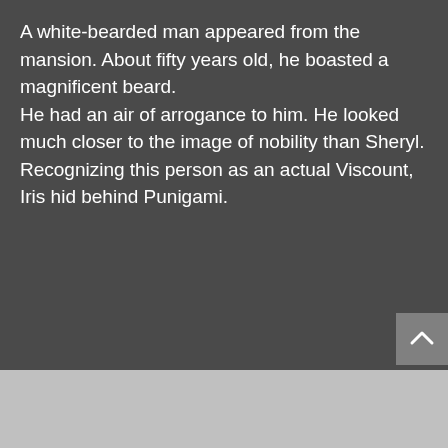A white-bearded man appeared from the mansion. About fifty years old, he boasted a magnificent beard.
He had an air of arrogance to him. He looked much closer to the image of nobility than Sheryl.
Recognizing this person as an actual Viscount, Iris hid behind Punigami.